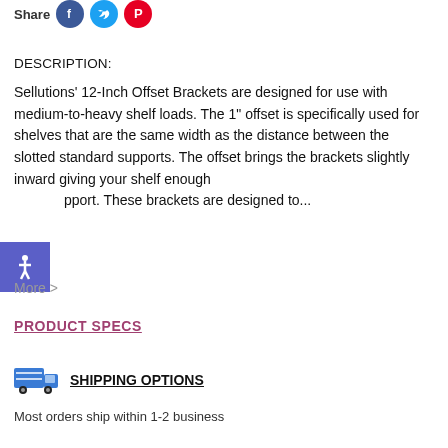Share
DESCRIPTION:
Sellutions' 12-Inch Offset Brackets are designed for use with medium-to-heavy shelf loads. The 1" offset is specifically used for shelves that are the same width as the distance between the slotted standard supports. The offset brings the brackets slightly inward giving your shelf enough support. These brackets are designed to...
More >
PRODUCT SPECS
SHIPPING OPTIONS
Most orders ship within 1-2 business days.